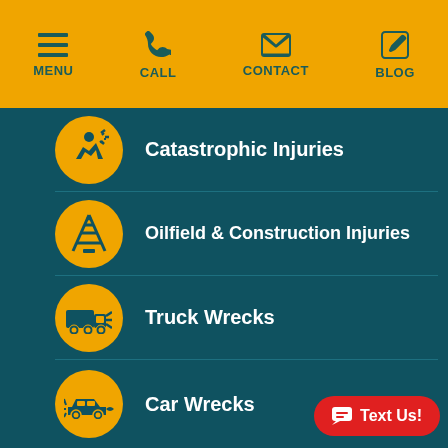MENU | CALL | CONTACT | BLOG
Catastrophic Injuries
Oilfield & Construction Injuries
Truck Wrecks
Car Wrecks
Text Us!